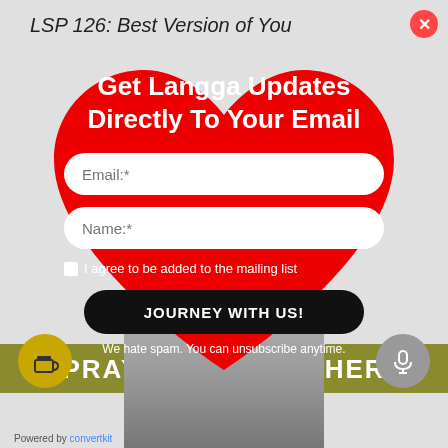LSP 126: Best Version of You
[Figure (screenshot): Red heart-shaped popup modal overlay with email signup form saying 'Get Langga Updates Directly To Your Email' with Email and Name input fields, a mailing list checkbox, a 'JOURNEY WITH US!' button, and spam disclaimer. Close button (x) at top right.]
Get Langga Updates Directly To Your Email
Email:*
Name:*
I agree to be added to the mailing list
JOURNEY WITH US!
We hate spam. You can unsubscribe anytime.
PRAY TOGETHER
Powered by convertkit